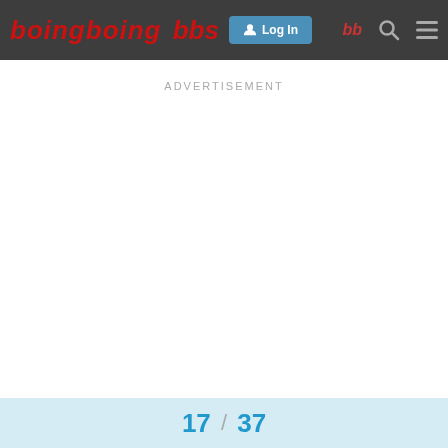boingboing bbs — Log In — bb — Search — Menu
ADVERTISEMENT
17 / 37